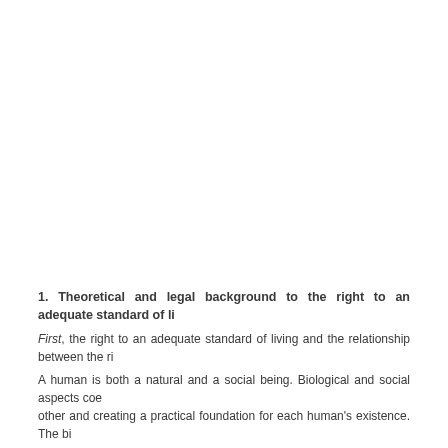1. Theoretical and legal background to the right to an adequate standard of li...
First, the right to an adequate standard of living and the relationship between the ri...
A human is both a natural and a social being. Biological and social aspects coe... other and creating a practical foundation for each human's existence. The bi...